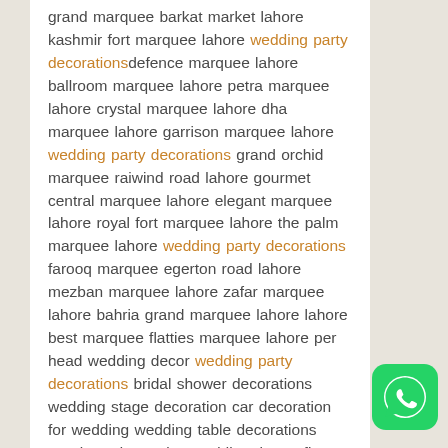grand marquee barkat market lahore kashmir fort marquee lahore wedding party decorations defence marquee lahore ballroom marquee lahore petra marquee lahore crystal marquee lahore dha marquee lahore garrison marquee lahore wedding party decorations grand orchid marquee raiwind road lahore gourmet central marquee lahore elegant marquee lahore royal fort marquee lahore the palm marquee lahore wedding party decorations farooq marquee egerton road lahore mezban marquee lahore zafar marquee lahore bahria grand marquee lahore lahore best marquee flatties marquee lahore per head wedding decor wedding party decorations bridal shower decorations wedding stage decoration car decoration for wedding wedding table decorations marriage decoration wedding theme first night room decoration wedding party decorations
[Figure (logo): WhatsApp green icon button in bottom right corner]